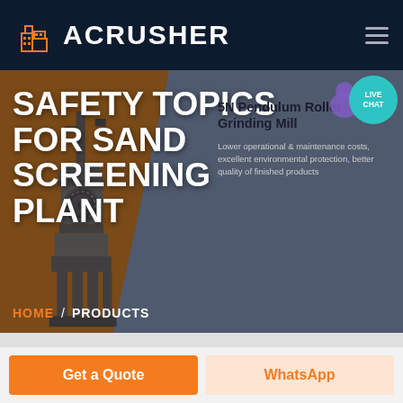[Figure (logo): Acrusher logo with orange building icon and white text 'ACRUSHER' on dark navy background header bar]
[Figure (screenshot): Hero section of Acrusher website showing a sand screening plant machine on brown/grey background with large white bold title text, live chat bubble, and right panel with product info]
SAFETY TOPICS FOR SAND SCREENING PLANT
5N Pendulum Roller Grinding Mill
Lower operational & maintenance costs, excellent environmental protection, better quality of finished products
HOME / PRODUCTS
Get a Quote
WhatsApp